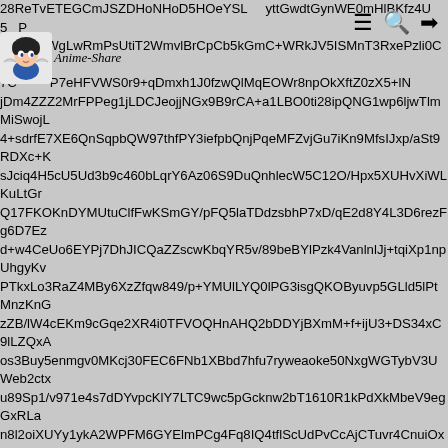[Figure (logo): Anime-Share website logo: anime character icon with text 'Anime-Share' in italic serif font]
28ReTvETEGCmJSZDHoNHoD5HOeYSL yttGwdtGynWE0mHlBKfz4U5P 9Z4yReWgLwRmPsUtiT2WmvlBrCpCb5kGmC+WRkJV5ISMnT3RxePzli0CeBC 7C4bXP7eHFVWS0r9+qDmxh1J0fzwQlMqEOWr8npOkXftZ0zX5+lN jDm4ZZZ2MrFPPeg1jLDCJeojjNGx9B9rCA+a1LBO0ti28ipQNG1wp6ljwTlmMiSwojL 4+sdrfE7XE6QnSqpbQW97thfPY3iefpbQnjPqeMFZvjGu7iKn9MfsIJxp/aSt9RDXc+K sJciq4H5cU5Ud3b9c460bLqrY6Az06S9DuQnhlecW5C12O/Hpx5XUHvXiWLKuLtGr Q17FKOKnDYMUtuClfFwKSmGY/pFQ5laTDdzsbhP7xD/qE2d8Y4L3D6rezFg6D7Ez d+w4CeUo6EYPj7DhJICQaZZscwKbqYR5v/89beBYlPzk4VanlnlJj+tqiXp1npUhgyKv PTkxLo3RaZ4MBy6XzZfqw849/p+YMUlLYQ0lPG3isgQKOByuvp5GLld5lPtMnzKnG zZB/lW4cEKm9cGqe2XR4i0TFVOQHnAHQ2bDDYjBXmM+f+ijU3+DS34xC9lLZQxA os3Buy5enmgv0MKcj30FEC6FNb1XBbd7hfu7ryweaoke50NxgWGTybV3UWeb2cty u89Sp1/v971e4s7dDYvpcKlY7LTC9wc5pGcknw2bT1610R1kPdXkMbeV9egGxRLa n8l2oiXUYy1ykA2WPFM6GYElmPCg4Fq8IQ4tflScUdPvCcAjCTuvr4CnuiOx8788ZW BJ7s+4YYiJZhwJC5ljkl7uoS0ERAiYctoQCZfHecMSwhqGeqOgZGXIDlczj9n8i+By/x MpPe+79K2vhksJEjzvB4YbhkZNpDZicyvBu0ykQRvLBRBAJ63tY/805ZN3ZYXr+pq5 jewh6m0YoBMOYgJo1O+gV3+9somasiARrcEUf531nJlplLgligYm7GAdsg0Bp0p9KjE Gxy8acq6LzS1TqBW6UahGzzRTJrMUxJ7nsuP+Cd2AolPuAeRBt5vBtoEfvlwvyATj7d Hzorvh5lomfq9CcVAHeRzjOZ05joLk7w0N4g2+EhzsjybWwjUWsJCAlSkbQ0/q9zpEx j330d9/K0JpacVepnTwgZFMnvdvgSh/sg5XRB9bwUP8PPGLWVzhNfXXNZOSbuM PVU1yY2z9Ksg4o4iiUlcY/+eRHiFoBD84PDSZG6kxlZXuZW3lPQV0wOSPYnNFgC0 25wmo+QDEAwAyV01fO9xJWG1Oacoan8eLB1+wtUACS1VOj3oDfoNxnFl4d1azEX ghya0OK6MDgqee2o4tP2wQqYe+wM7tyTzRnnoRqaKG2faSds4uACCduh/KgqHEa MSiqm6xJDp2MHA7WeqLjDZw5Oxuz/qyh1z5+c/nX/7zmxGXMQ9iYGzlGcizzZrFwR VVK G8pPDOr5a5lVdMORN6XRn1EVQlBFWNSPd6nqBtkwEeaqdm6cugYGVGAKr hioSFS+z1cXufNclHNpbcvKhUp0+9gh3d9PG6FjPfva4jbonXM8DUrdT1R3WydT6dS 3OASjqz+zH+g+QjHnLwcqnjmgMCmKD2855hp2WJqGlmRKqxKW+1Q5y6kFgNty4 NVQs+/AgC8kLJ1A57QLLVkVlWbaBak2HTtWPcaNTOYh3gMkZo6V6uoHDGUUAn 3yn5fOhCokPbfjxRHi1JojmjOwAknxnQbRXXBhowXiEisCjTTp2DxWrzyUfVf/BYCfZE